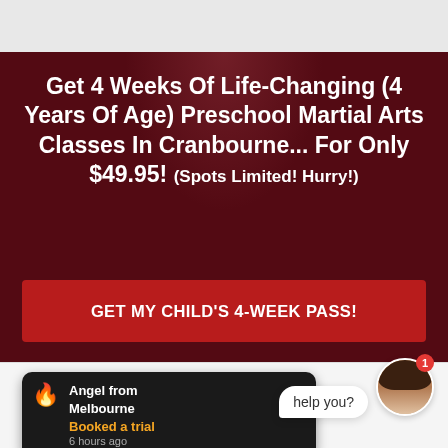[Figure (photo): Dark red/maroon background hero image with martial arts figures silhouetted in background]
Get 4 Weeks Of Life-Changing (4 Years Of Age) Preschool Martial Arts Classes In Cranbourne... For Only $49.95! (Spots Limited! Hurry!)
GET MY CHILD'S 4-WEEK PASS!
Angel from Melbourne
Booked a trial
6 hours ago
help you?